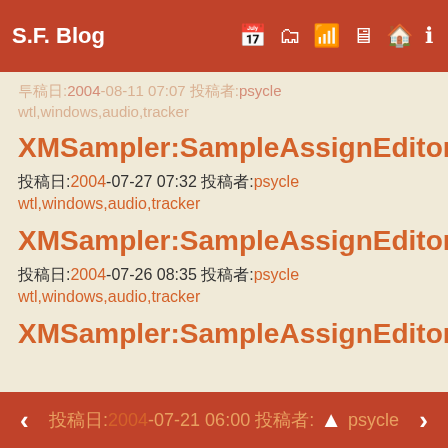S.F. Blog
XMSampler:SampleAssignEditor
投稿日:2004-07-27 07:32 投稿者:psycle
wtl,windows,audio,tracker
XMSampler:SampleAssignEditor
投稿日:2004-07-26 08:35 投稿者:psycle
wtl,windows,audio,tracker
XMSampler:SampleAssignEditor
投稿日:2004-07-21 06:00 投稿者:psycle